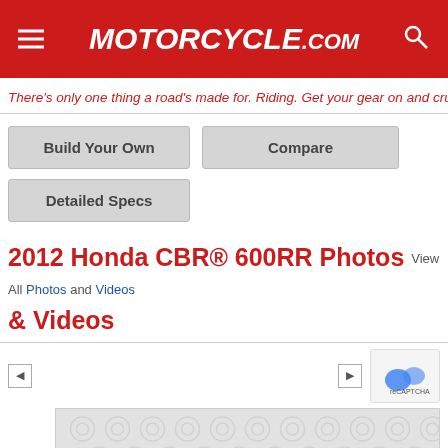MOTORCYCLE.COM
There's only one thing a road's made for. Riding. Get your gear on and cruise wi
Build Your Own
Compare
Detailed Specs
2012 Honda CBR® 600RR Photos & Videos View All Photos and Videos
[Figure (screenshot): Photo gallery navigation area with left and right arrow buttons and a reCAPTCHA badge, with a grey placeholder image area below showing a repeat pattern]